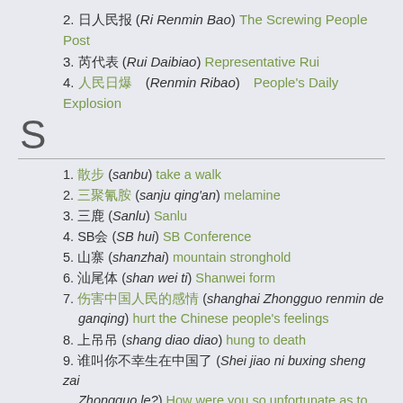2. 日人民报 (Ri Renmin Bao) The Screwing People Post
3. 芮代表 (Rui Daibiao) Representative Rui
4. 人民日爆 (Renmin Ribao) People's Daily Explosion
S
1. 散步 (sanbu) take a walk
2. 三聚氰胺 (sanju qing'an) melamine
3. 三鹿 (Sanlu) Sanlu
4. SB会 (SB hui) SB Conference
5. 山寨 (shanzhai) mountain stronghold
6. 汕尾体 (shan wei ti) Shanwei form
7. 伤害中国人民的感情 (shanghai Zhongguo renmin de ganqing) hurt the Chinese people's feelings
8. 上吊吊 (shang diao diao) hung to death
9. 谁叫你不幸生在中国了 (Shei jiao ni buxing sheng zai Zhongguo le?) How were you so unfortunate as to be born in China?
10. 神奇的国度 (shenqi de guodu) mystical country